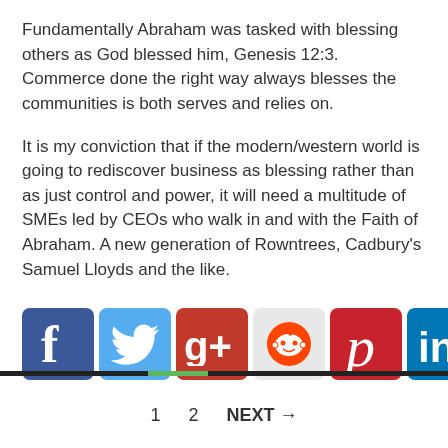Fundamentally Abraham was tasked with blessing others as God blessed him, Genesis 12:3. Commerce done the right way always blesses the communities is both serves and relies on.
It is my conviction that if the modern/western world is going to rediscover business as blessing rather than as just control and power, it will need a multitude of SMEs led by CEOs who walk in and with the Faith of Abraham. A new generation of Rowntrees, Cadbury's Samuel Lloyds and the like.
[Figure (infographic): Social media sharing icons: Facebook, Twitter, Google+, Reddit, Pinterest, LinkedIn, Email, and a feather 'by' icon]
1   2   NEXT →